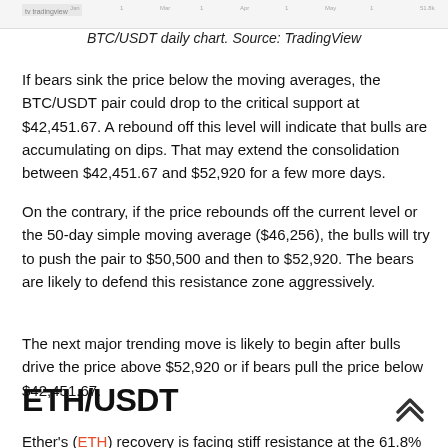[Figure (screenshot): Top portion of BTC/USDT daily chart from TradingView, showing price bars and axis labels at the top of the page.]
BTC/USDT daily chart. Source: TradingView
If bears sink the price below the moving averages, the BTC/USDT pair could drop to the critical support at $42,451.67. A rebound off this level will indicate that bulls are accumulating on dips. That may extend the consolidation between $42,451.67 and $52,920 for a few more days.
On the contrary, if the price rebounds off the current level or the 50-day simple moving average ($46,256), the bulls will try to push the pair to $50,500 and then to $52,920. The bears are likely to defend this resistance zone aggressively.
The next major trending move is likely to begin after bulls drive the price above $52,920 or if bears pull the price below $42,451.67.
ETH/USDT
Ether's (ETH) recovery is facing stiff resistance at the 61.8%